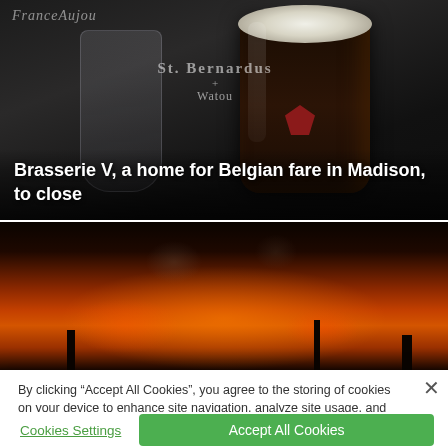[Figure (photo): Photo of a St. Bernardus Watou Belgian beer glass (dark beer with white foam head) in a dark bar setting, with FranceAujou branding visible in background]
Brasserie V, a home for Belgian fare in Madison, to close
[Figure (photo): Photo of fire and smoke, dramatic orange glow against dark background with silhouettes]
By clicking “Accept All Cookies”, you agree to the storing of cookies on your device to enhance site navigation, analyze site usage, and assist in our marketing efforts.
Cookies Settings
Accept All Cookies